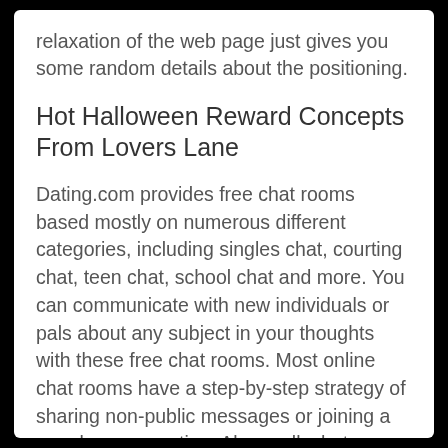relaxation of the web page just gives you some random details about the positioning.
Hot Halloween Reward Concepts From Lovers Lane
Dating.com provides free chat rooms based mostly on numerous different categories, including singles chat, courting chat, teen chat, school chat and more. You can communicate with new individuals or pals about any subject in your thoughts with these free chat rooms. Most online chat rooms have a step-by-step strategy of sharing non-public messages or joining a gaggle conversation. Above all, chat chatrooms...